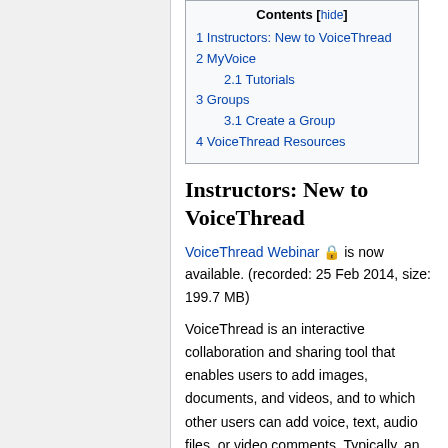| Contents |
| --- |
| 1 Instructors: New to VoiceThread |
| 2 MyVoice |
| 2.1 Tutorials |
| 3 Groups |
| 3.1 Create a Group |
| 4 VoiceThread Resources |
Instructors: New to VoiceThread
VoiceThread Webinar 🔒 is now available. (recorded: 25 Feb 2014, size: 199.7 MB)
VoiceThread is an interactive collaboration and sharing tool that enables users to add images, documents, and videos, and to which other users can add voice, text, audio files, or video comments. Typically, an instructor creates the initial narrative slides and students then add their comments at any point in the narration. VoiceThreads can be posted on your website or saved to an MP3 or DVD. VoiceThread can be used to simulate conversations and interviews, allow